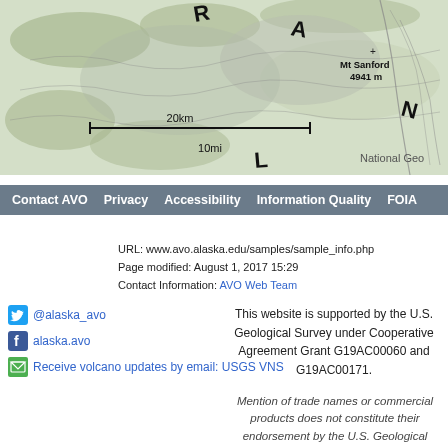[Figure (map): Topographic map showing Mt Sanford at 4941 m elevation with scale bars showing 20km and 10mi. Labels include compass direction letters R, A, N, L and 'National Geo' watermark in lower right.]
| Contact AVO | Privacy | Accessibility | Information Quality | FOIA |
| --- | --- | --- | --- | --- |
URL: www.avo.alaska.edu/samples/sample_info.php
Page modified: August 1, 2017 15:29
Contact Information: AVO Web Team
@alaska_avo
alaska.avo
Receive volcano updates by email: USGS VNS
This website is supported by the U.S. Geological Survey under Cooperative Agreement Grant G19AC00060 and G19AC00171.
Mention of trade names or commercial products does not constitute their endorsement by the U.S. Geological Survey.